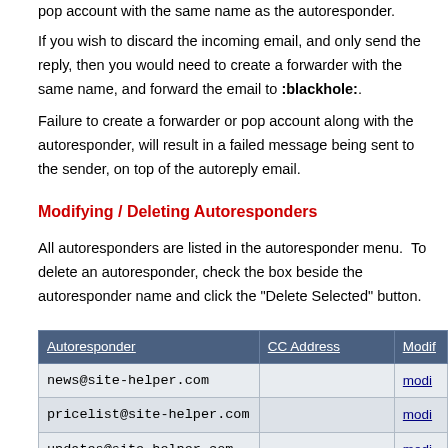pop account with the same name as the autoresponder.
If you wish to discard the incoming email, and only send the reply, then you would need to create a forwarder with the same name, and forward the email to :blackhole:.
Failure to create a forwarder or pop account along with the autoresponder, will result in a failed message being sent to the sender, on top of the autoreply email.
Modifying / Deleting Autoresponders
All autoresponders are listed in the autoresponder menu.  To delete an autoresponder, check the box beside the autoresponder name and click the "Delete Selected" button.
| Autoresponder | CC Address | Modif |
| --- | --- | --- |
| news@site-helper.com |  | modi |
| pricelist@site-helper.com |  | modi |
| updates@site-helper.com |  | modi |
|  |  | D |